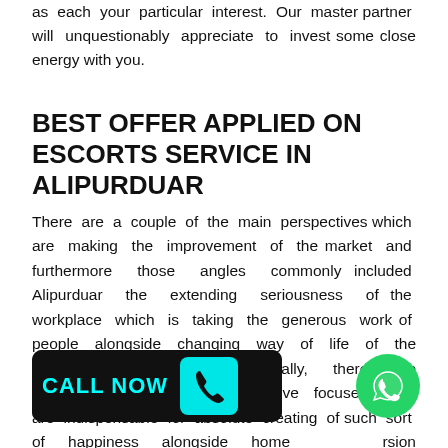as each your particular interest. Our master partner will unquestionably appreciate to invest some close energy with you.
BEST OFFER APPLIED ON ESCORTS SERVICE IN ALIPURDUAR
There are a couple of the main perspectives which are making the improvement of the market and furthermore those angles commonly included Alipurduar the extending seriousness of the workplace which is taking the generous work of people alongside changing way of life of the individuals especially. Additionally, there are moreover different other extensive focuses which are indispensable for absolute creating of such sort of happiness alongside homeersion w a lot of kind of joy being s purduar Escorts agency has i a great deal of endless type
[Figure (other): CALL NOW button with phone icon in cyan on black rounded rectangle background]
[Figure (other): WhatsApp green circle icon button]